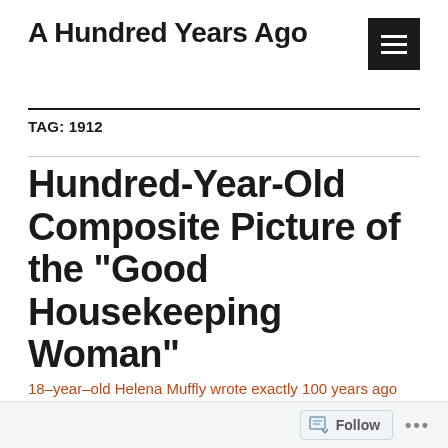A Hundred Years Ago
TAG: 1912
Hundred-Year-Old Composite Picture of the “Good Housekeeping Woman”
18–year–old Helena Muffly wrote exactly 100 years ago today: